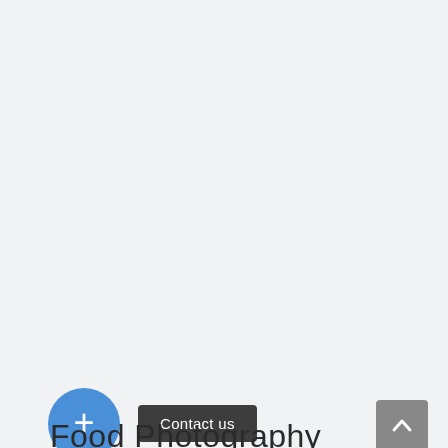[Figure (screenshot): Large empty light gray area representing a webpage content region]
[Figure (other): Blue circular plus (+) button on the left]
Contact us
[Figure (other): Gray square scroll-to-top button with an upward chevron arrow]
Food Photography